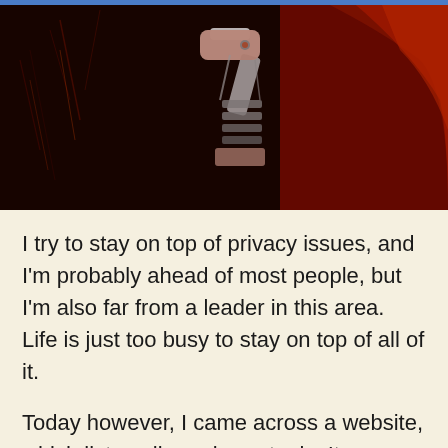[Figure (photo): Dark dramatic photo showing what appears to be a mechanical or robotic arm/gun-like device with orange-red highlights against a dark black background with red streaks on the right side]
I try to stay on top of privacy issues, and I'm probably ahead of most people, but I'm also far from a leader in this area. Life is just too busy to stay on top of all of it.
Today however, I came across a website, which lists online privacy tools. It was